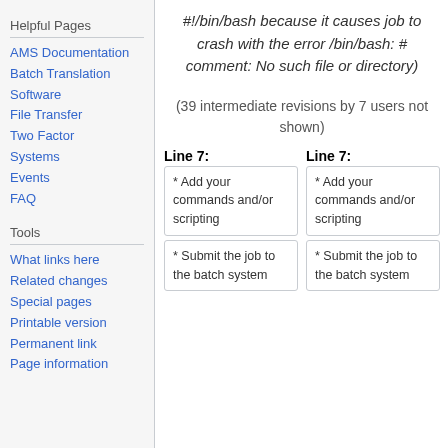Helpful Pages
AMS Documentation
Batch Translation
Software
File Transfer
Two Factor
Systems
Events
FAQ
Tools
What links here
Related changes
Special pages
Printable version
Permanent link
Page information
#!/bin/bash because it causes job to crash with the error /bin/bash: # comment: No such file or directory)
(39 intermediate revisions by 7 users not shown)
Line 7:
Line 7:
* Add your commands and/or scripting
* Add your commands and/or scripting
* Submit the job to the batch system
* Submit the job to the batch system